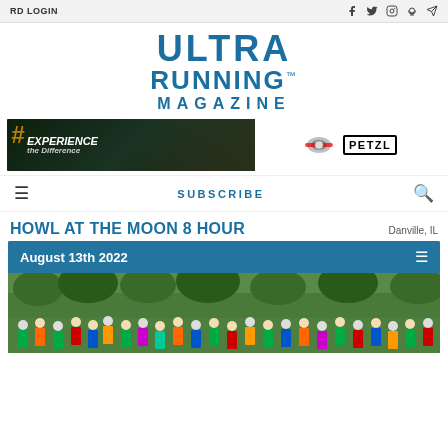RD LOGIN
ULTRA RUNNING. MAGAZINE
[Figure (photo): Petzl advertisement banner showing runners with headlamps at night, text reads #Experience The Difference, with Petzl logo and headlamp products on right]
SUBSCRIBE
HOWL AT THE MOON 8 HOUR
Danville, IL
August 13th 2022
[Figure (photo): Race start photo showing a large crowd of runners in colorful gear at the Howl at the Moon 8 Hour race, with trees in the background]